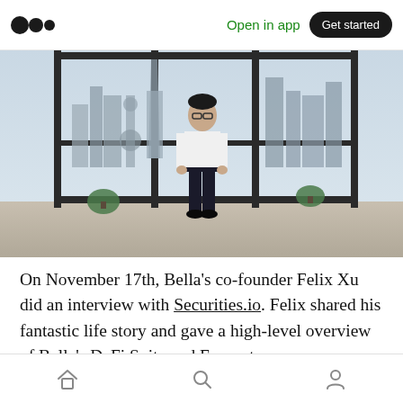Open in app  Get started
[Figure (photo): A man in a white dress shirt and dark trousers stands in a modern high-rise interior with floor-to-ceiling glass windows overlooking a city skyline (Shanghai). Small potted plants are visible in the corners.]
On November 17th, Bella's co-founder Felix Xu did an interview with Securities.io. Felix shared his fantastic life story and gave a high-level overview of Bella's DeFi Suite and Ecosystem
Home  Search  Profile